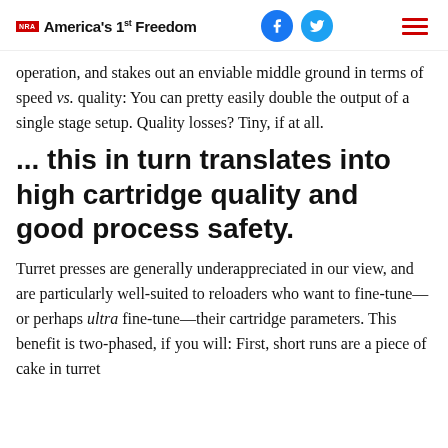NRA America's 1st Freedom
operation, and stakes out an enviable middle ground in terms of speed vs. quality: You can pretty easily double the output of a single stage setup. Quality losses? Tiny, if at all.
... this in turn translates into high cartridge quality and good process safety.
Turret presses are generally underappreciated in our view, and are particularly well-suited to reloaders who want to fine-tune—or perhaps ultra fine-tune—their cartridge parameters. This benefit is two-phased, if you will: First, short runs are a piece of cake in turret